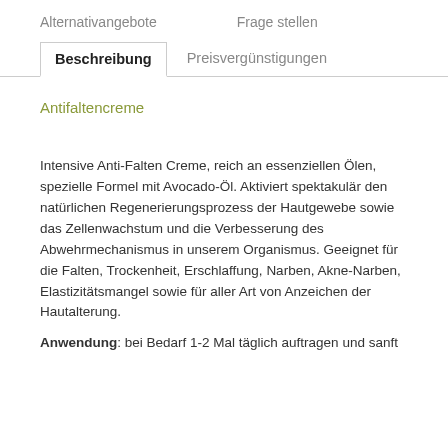Alternativangebote   Frage stellen
Beschreibung   Preisvergünstigungen
Antifaltencreme
Intensive Anti-Falten Creme, reich an essenziellen Ölen, spezielle Formel mit Avocado-Öl. Aktiviert spektakulär den natürlichen Regenerierungsprozess der Hautgewebe sowie das Zellenwachstum und die Verbesserung des Abwehrmechanismus in unserem Organismus. Geeignet für die Falten, Trockenheit, Erschlaffung, Narben, Akne-Narben, Elastizitätsmangel sowie für aller Art von Anzeichen der Hautalterung.
Anwendung: bei Bedarf 1-2 Mal täglich auftragen und sanft